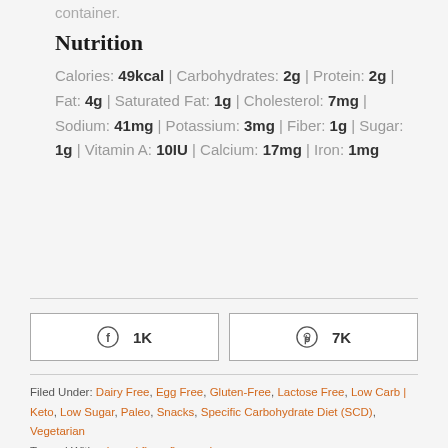container.
Nutrition
Calories: 49kcal | Carbohydrates: 2g | Protein: 2g | Fat: 4g | Saturated Fat: 1g | Cholesterol: 7mg | Sodium: 41mg | Potassium: 3mg | Fiber: 1g | Sugar: 1g | Vitamin A: 10IU | Calcium: 17mg | Iron: 1mg
[Figure (other): Facebook share button showing 1K shares]
[Figure (other): Pinterest share button showing 7K saves]
Filed Under: Dairy Free, Egg Free, Gluten-Free, Lactose Free, Low Carb | Keto, Low Sugar, Paleo, Snacks, Specific Carbohydrate Diet (SCD), Vegetarian Tagged With: almond flour, flaxseed